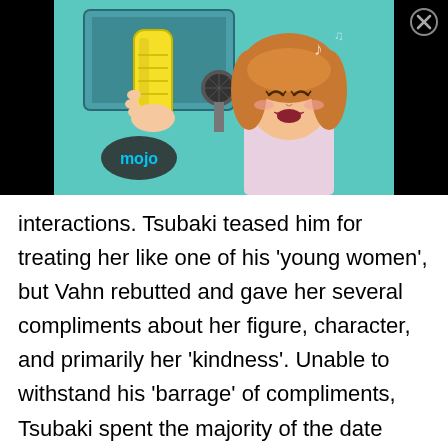[Figure (illustration): Anime-style illustration of a girl with orange hair singing into a microphone, with a yellow object/handle held by another hand visible. A 'mojo' watermark logo is visible in the lower-left of the image. The image is framed by black bars on the left and right sides. A circular close (X) button is in the upper-right corner.]
interactions. Tsubaki teased him for treating her like one of his 'young women', but Vahn rebutted and gave her several compliments about her figure, character, and primarily her 'kindness'. Unable to withstand his 'barrage' of compliments, Tsubaki spent the majority of the date relatively docile while only trying to tease Vahn whenever she got frustrated or embarrassed. Of all the girls around him,